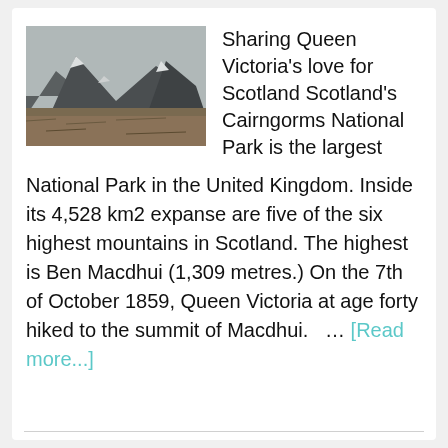[Figure (photo): Photograph of a Scottish mountain valley with rocky peaks, snow patches, and moorland in the foreground under an overcast sky]
Sharing Queen Victoria’s love for Scotland Scotland’s Cairngorms National Park is the largest National Park in the United Kingdom.
Inside its 4,528 km2 expanse are five of the six highest mountains in Scotland. The highest is Ben Macdhui (1,309 metres.) On the 7th of October 1859, Queen Victoria at age forty hiked to the summit of Macdhui.   … [Read more...]